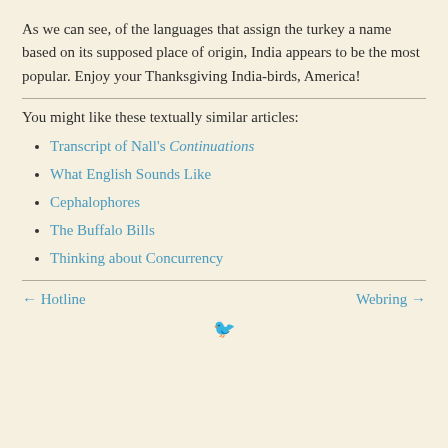As we can see, of the languages that assign the turkey a name based on its supposed place of origin, India appears to be the most popular. Enjoy your Thanksgiving India-birds, America!
You might like these textually similar articles:
Transcript of Nall's Continuations
What English Sounds Like
Cephalophores
The Buffalo Bills
Thinking about Concurrency
← Hotline    Webring →